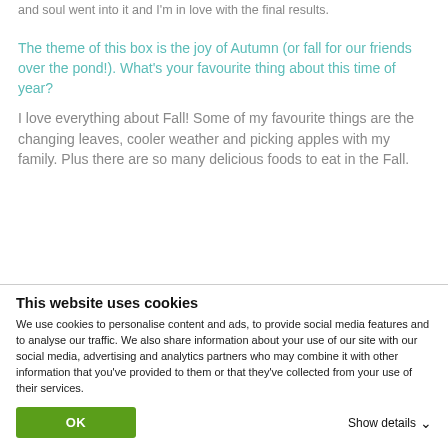and soul went into it and I'm in love with the final results.
The theme of this box is the joy of Autumn (or fall for our friends over the pond!). What's your favourite thing about this time of year?
I love everything about Fall! Some of my favourite things are the changing leaves, cooler weather and picking apples with my family. Plus there are so many delicious foods to eat in the Fall.
This website uses cookies
We use cookies to personalise content and ads, to provide social media features and to analyse our traffic. We also share information about your use of our site with our social media, advertising and analytics partners who may combine it with other information that you've provided to them or that they've collected from your use of their services.